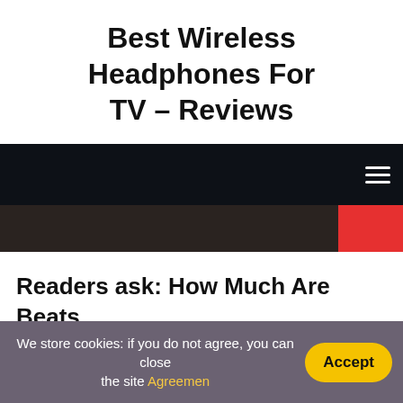Best Wireless Headphones For TV – Reviews
[Figure (screenshot): Dark navigation bar with hamburger menu icon on the right, followed by a dark brown sub-bar with a red block on the right side]
Readers ask: How Much Are Beats Headphones Wireless?
19.11.2021   BY ROGER GRIFFITH
We store cookies: if you do not agree, you can close the site Agreemen